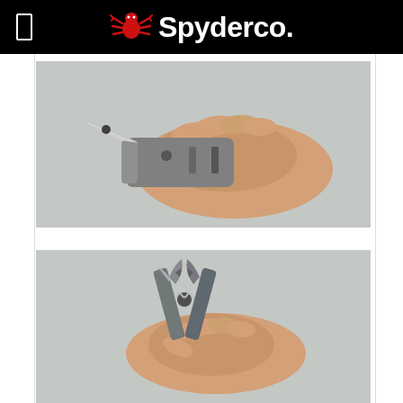Spyderco
[Figure (photo): A hand holding an open Spyderco folding knife with blade extended, grey background]
[Figure (photo): A hand holding a Spyderco multi-tool/plier tool open, grey background]